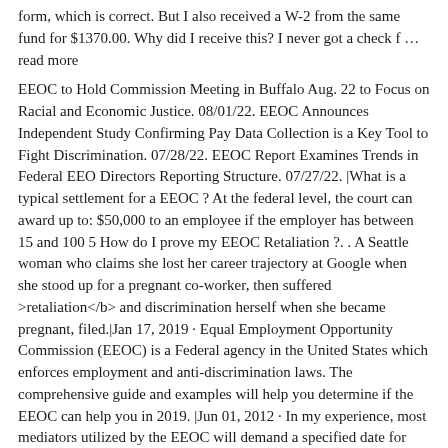form, which is correct. But I also received a W-2 from the same fund for $1370.00. Why did I receive this? I never got a check f … read more
EEOC to Hold Commission Meeting in Buffalo Aug. 22 to Focus on Racial and Economic Justice. 08/01/22. EEOC Announces Independent Study Confirming Pay Data Collection is a Key Tool to Fight Discrimination. 07/28/22. EEOC Report Examines Trends in Federal EEO Directors Reporting Structure. 07/27/22. |What is a typical settlement for a EEOC ? At the federal level, the court can award up to: $50,000 to an employee if the employer has between 15 and 100 5 How do I prove my EEOC Retaliation ?. . A Seattle woman who claims she lost her career trajectory at Google when she stood up for a pregnant co-worker, then suffered >retaliation</b> and discrimination herself when she became pregnant, filed.|Jan 17, 2019 · Equal Employment Opportunity Commission (EEOC) is a Federal agency in the United States which enforces employment and anti-discrimination laws. The comprehensive guide and examples will help you determine if the EEOC can help you in 2019. |Jun 01, 2012 · In my experience, most mediators utilized by the EEOC will demand a specified date for payment in the agreement. I suggest reviewing your papers for it, or even contacting the EEOC. That said, I tend to see time periods of 60 days meaning that your employer may not be late with complying with the terms of the settlement agreement. oc3